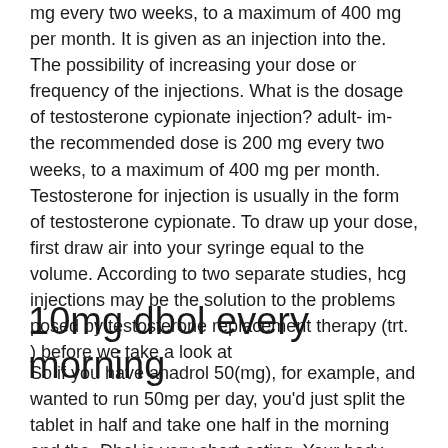mg every two weeks, to a maximum of 400 mg per month. It is given as an injection into the. The possibility of increasing your dose or frequency of the injections. What is the dosage of testosterone cypionate injection? adult- im- the recommended dose is 200 mg every two weeks, to a maximum of 400 mg per month. Testosterone for injection is usually in the form of testosterone cypionate. To draw up your dose, first draw air into your syringe equal to the volume. According to two separate studies, hcg injections may be the solution to the problems posed by testosterone replacement therapy (trt. ) before we take a look at
10mg dbol every morning
So if you have anadrol 50(mg), for example, and wanted to run 50mg per day, you'd just split the tablet in half and take one half in the morning and the. Dbol is very short-acting. Your body naturally produces a test spike